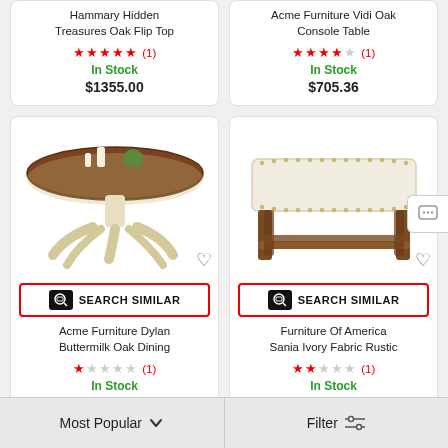Hammary Hidden Treasures Oak Flip Top
★★★★★ (1)
In Stock
$1355.00
Acme Furniture Vidi Oak Console Table
★★★★☆ (1)
In Stock
$705.36
[Figure (photo): Round white/cream pedestal dining table with dark wood top, candles and plant on top]
SEARCH SIMILAR
Acme Furniture Dylan Buttermilk Oak Dining
★☆☆☆☆ (1)
In Stock
$391.70
[Figure (photo): Cream/ivory upholstered bench with nailhead trim and dark wood legs]
SEARCH SIMILAR
Furniture Of America Sania Ivory Fabric Rustic
★★☆☆☆ (1)
In Stock
$172.24
Most Popular
Filter